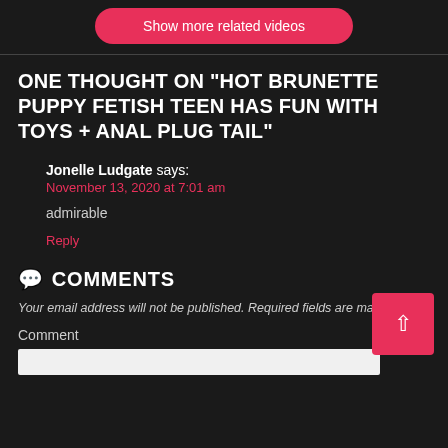[Figure (screenshot): Pink/red rounded button labeled 'Show more related videos' on dark background]
ONE THOUGHT ON “HOT BRUNETTE PUPPY FETISH TEEN HAS FUN WITH TOYS + ANAL PLUG TAIL”
Jonelle Ludgate says:
November 13, 2020 at 7:01 am
admirable
Reply
COMMENTS
Your email address will not be published. Required fields are marked *
Comment